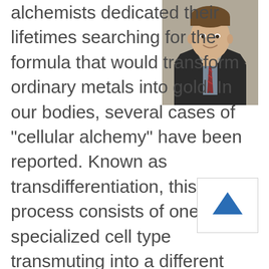[Figure (photo): Professional headshot of a man in a dark suit with a striped tie, smiling, against a neutral background]
alchemists dedicated their lifetimes searching for the formula that would transform ordinary metals into gold. In our bodies, several cases of "cellular alchemy" have been reported. Known as transdifferentiation, this process consists of one specialized cell type transmuting into a different one. Until now, this phenomenon had only been observed in the context of replenishing cells lost from pre...
[Figure (other): Scroll-to-top button with an upward-pointing blue arrow]